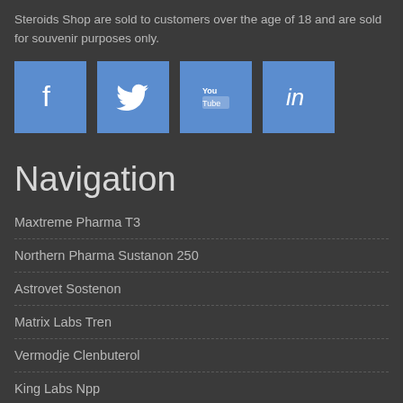Steroids Shop are sold to customers over the age of 18 and are sold for souvenir purposes only.
[Figure (other): Social media icons: Facebook, Twitter, YouTube, LinkedIn]
Navigation
Maxtreme Pharma T3
Northern Pharma Sustanon 250
Astrovet Sostenon
Matrix Labs Tren
Vermodje Clenbuterol
King Labs Npp